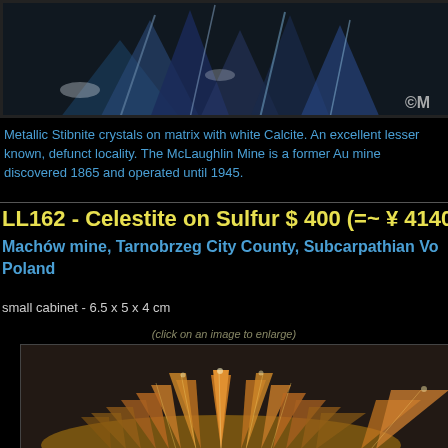[Figure (photo): Metallic stibnite crystals on matrix with white calcite, close-up photo with copyright watermark]
Metallic Stibnite crystals on matrix with white Calcite. An excellent lesser known, defunct locality. The McLaughlin Mine is a former Au mine discovered 1865 and operated until 1945.
LL162 - Celestite on Sulfur $ 400 (=~ ¥ 4140
Machów mine, Tarnobrzeg City County, Subcarpathian Vo Poland
small cabinet - 6.5 x 5 x 4 cm
(click on an image to enlarge)
[Figure (photo): Close-up photo of golden/amber colored Celestite crystals on Sulfur matrix, showing elongated prismatic crystals in a fan-like arrangement]